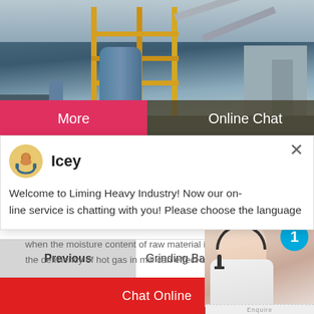[Figure (photo): Industrial heavy machinery / factory exterior with yellow scaffolding, blue silos, and conveyor structures]
[Figure (screenshot): Chat popup with avatar of agent named Icey, with message: Welcome to Liming Heavy Industry! Now our online service is chatting with you! Please choose the language]
when the moisture content of raw material is
the deficiency of hot gas in mill can effect on
[Figure (photo): Customer service representative photo with headset, blue badge showing number 1, and dark panel with Need questions & suggestion? Chat Now button]
Previous
Grinding Ball M
Chat Online
Enquire